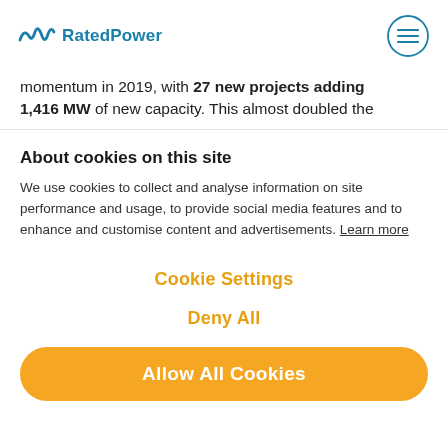RatedPower
momentum in 2019, with 27 new projects adding 1,416 MW of new capacity. This almost doubled the
About cookies on this site
We use cookies to collect and analyse information on site performance and usage, to provide social media features and to enhance and customise content and advertisements. Learn more
Cookie Settings
Deny All
Allow All Cookies